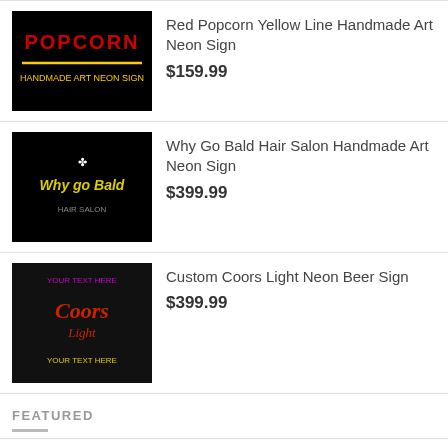[Figure (photo): Neon sign image: POPCORN text in red/yellow neon on black background]
Red Popcorn Yellow Line Handmade Art Neon Sign
$159.99
[Figure (photo): Neon sign image: Why go Bald text in yellow neon on black background]
Why Go Bald Hair Salon Handmade Art Neon Sign
$399.99
[Figure (photo): Neon sign image: Coors Light custom neon beer sign with YOUR TEXT HERE text]
Custom Coors Light Neon Beer Sign
$399.99
FEATURED
[Figure (photo): Neon sign image: Bridal Shop oval shaped neon sign in red and blue on dark background]
Oval Bridal Shop Handmade Art Neon Sign
$159.99
[Figure (photo): Neon sign image: BRIDAL SHOES oval shaped neon sign in red and yellow on dark background]
Oval Bridal Shoes Handmade Art Neon Sign
$159.99